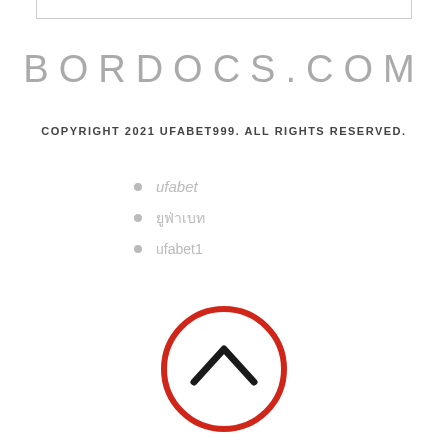BORDOCS.COM
COPYRIGHT 2021 UFABET999. ALL RIGHTS RESERVED.
ufabet
ยูฟ่าเบท
ufabet1
[Figure (illustration): Red circle with upward chevron arrow inside, used as a scroll-to-top button]